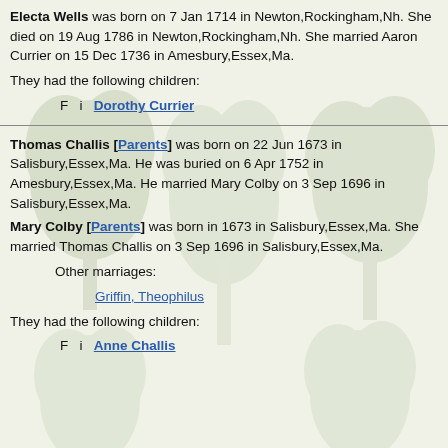Electa Wells was born on 7 Jan 1714 in Newton,Rockingham,Nh. She died on 19 Aug 1786 in Newton,Rockingham,Nh. She married Aaron Currier on 15 Dec 1736 in Amesbury,Essex,Ma.
They had the following children:
F  i  Dorothy Currier
Thomas Challis [Parents] was born on 22 Jun 1673 in Salisbury,Essex,Ma. He was buried on 6 Apr 1752 in Amesbury,Essex,Ma. He married Mary Colby on 3 Sep 1696 in Salisbury,Essex,Ma.
Mary Colby [Parents] was born in 1673 in Salisbury,Essex,Ma. She married Thomas Challis on 3 Sep 1696 in Salisbury,Essex,Ma.
Other marriages:
Griffin, Theophilus
They had the following children:
F  i  Anne Challis